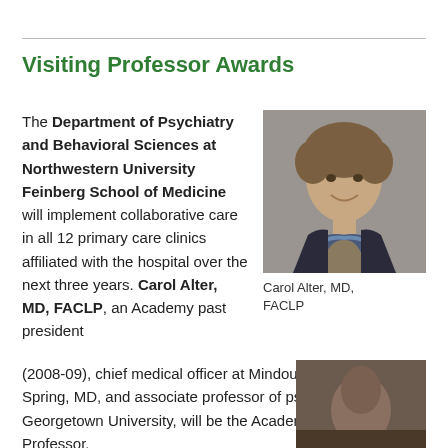Visiting Professor Awards
The Department of Psychiatry and Behavioral Sciences at Northwestern University Feinberg School of Medicine will implement collaborative care in all 12 primary care clinics affiliated with the hospital over the next three years. Carol Alter, MD, FACLP, an Academy past president (2008-09), chief medical officer at Mindoula Health, Silver Spring, MD, and associate professor of psychiatry, Georgetown University, will be the Academy's Visiting Professor.
[Figure (photo): Headshot photo of Carol Alter, MD, FACLP — a woman with short curly brown hair, wearing a scarf and dark jacket, smiling]
Carol Alter, MD, FACLP
[Figure (photo): Partial headshot photo of another person, cropped at the bottom of the page]